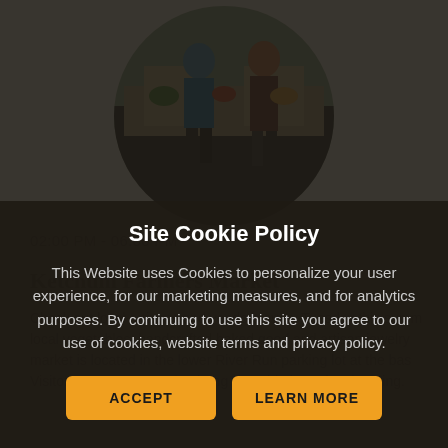[Figure (photo): Circular cropped photo of two people standing behind a farmers market table with produce and goods displayed]
02:00 PM - 06:00 PM
Ketchum Farmers Market
Check out local artisans and vendors every Tuesday this summer local vegetables, handcrafted baked good and artisan jewelry market is located in the lower River Run parking lot at the base Visitors are encouraged to bring reusable bags for shopping.
Site Cookie Policy
This Website uses Cookies to personalize your user experience, for our marketing measures, and for analytics purposes. By continuing to use this site you agree to our use of cookies, website terms and privacy policy.
ACCEPT
LEARN MORE